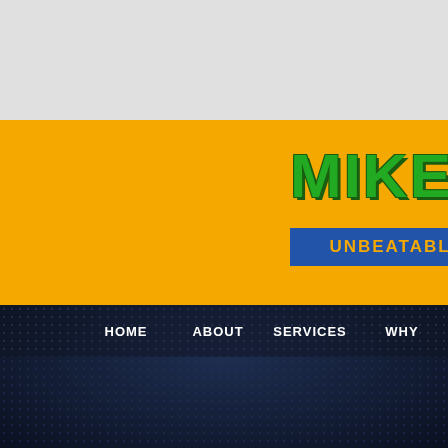[Figure (screenshot): Website header screenshot showing a yellow banner with 'MIKE'S P' logo text in green and a blue tagline bar reading 'UNBEATABL', above a dark perforated-texture navigation bar with menu items HOME, ABOUT, SERVICES, WHY]
MIKE'S P
UNBEATABL
HOME    ABOUT    SERVICES    WHY